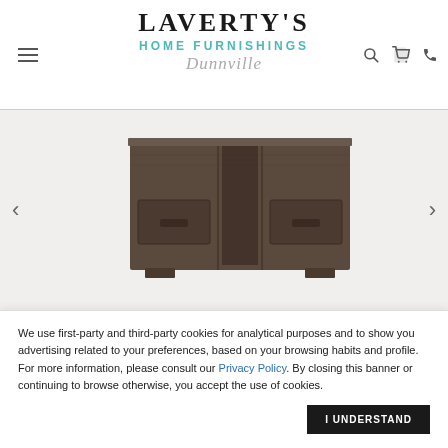[Figure (logo): Laverty's Home Furnishings Dunnville logo with hamburger menu and icons]
[Figure (photo): Dark brown wooden media console/sideboard with three drawers and barn door style panels, partial view from above]
Jofran Inc. Madison County Barn Door
We use first-party and third-party cookies for analytical purposes and to show you advertising related to your preferences, based on your browsing habits and profile. For more information, please consult our Privacy Policy. By closing this banner or continuing to browse otherwise, you accept the use of cookies.